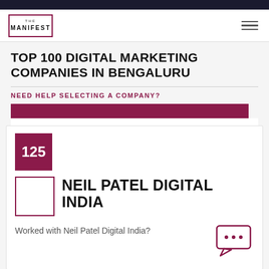THE MANIFEST
TOP 100 DIGITAL MARKETING COMPANIES IN BENGALURU
NEED HELP SELECTING A COMPANY?
125
NEIL PATEL DIGITAL INDIA
Worked with Neil Patel Digital India?